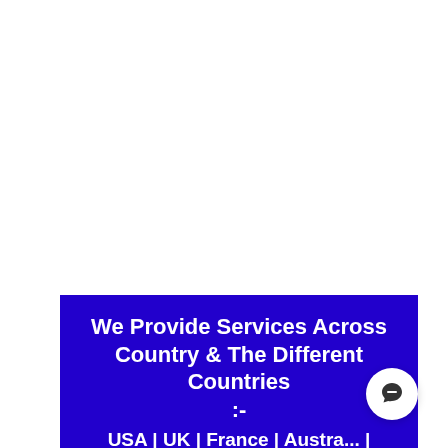We Provide Services Across Country & The Different Countries :- USA | UK | France | Australia | Canada | UAE | Kuwait | ...